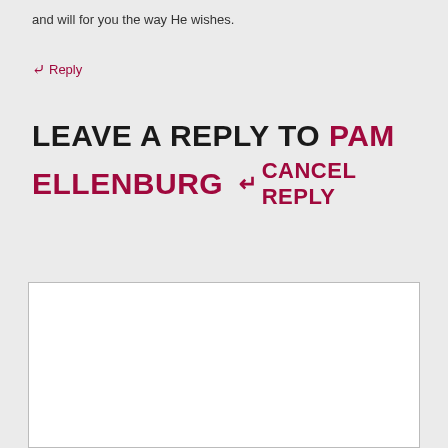and will for you the way He wishes.
↵ Reply
LEAVE A REPLY TO PAM ELLENBURG ↵ CANCEL REPLY
[Figure (other): Empty white comment text area box with border]